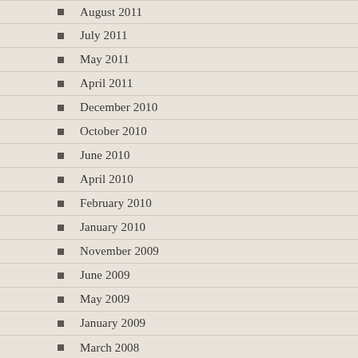August 2011
July 2011
May 2011
April 2011
December 2010
October 2010
June 2010
April 2010
February 2010
January 2010
November 2009
June 2009
May 2009
January 2009
March 2008